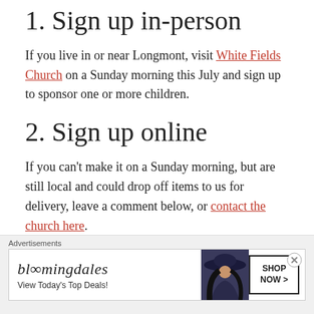1. Sign up in-person
If you live in or near Longmont, visit White Fields Church on a Sunday morning this July and sign up to sponsor one or more children.
2. Sign up online
If you can’t make it on a Sunday morning, but are still local and could drop off items to us for delivery, leave a comment below, or contact the church here.
3. Contribute Financially
[Figure (other): Bloomingdale's advertisement banner with woman in wide-brim hat, 'View Today's Top Deals!' text, and 'SHOP NOW >' button]